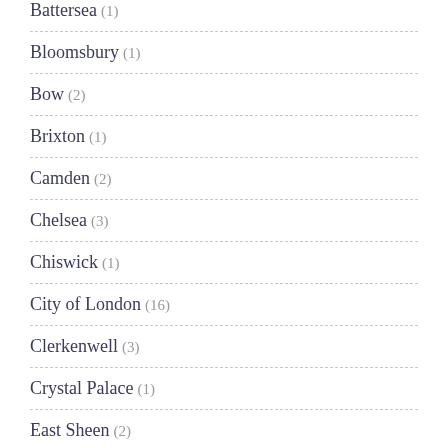Battersea (1)
Bloomsbury (1)
Bow (2)
Brixton (1)
Camden (2)
Chelsea (3)
Chiswick (1)
City of London (16)
Clerkenwell (3)
Crystal Palace (1)
East Sheen (2)